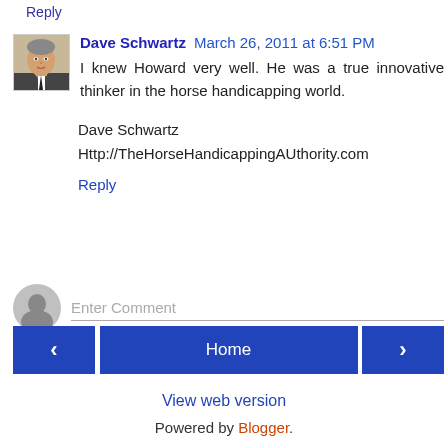Reply
Dave Schwartz  March 26, 2011 at 6:51 PM
I knew Howard very well. He was a true innovative thinker in the horse handicapping world.

Dave Schwartz
Http://TheHorseHandicappingAUthority.com
Reply
Enter Comment
Home
View web version
Powered by Blogger.